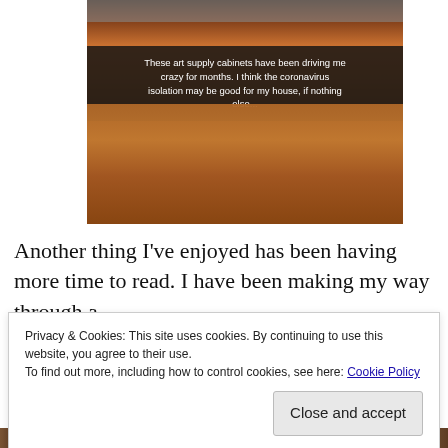[Figure (photo): Photo of a wooden floor with art supply cabinets, with a Snapchat-style caption overlay reading: 'These art supply cabinets have been driving me crazy for months. I think the coronavirus isolation may be good for my house, if nothing else...']
Another thing I've enjoyed has been having more time to read. I have been making my way through a
Privacy & Cookies: This site uses cookies. By continuing to use this website, you agree to their use.
To find out more, including how to control cookies, see here: Cookie Policy

Close and accept